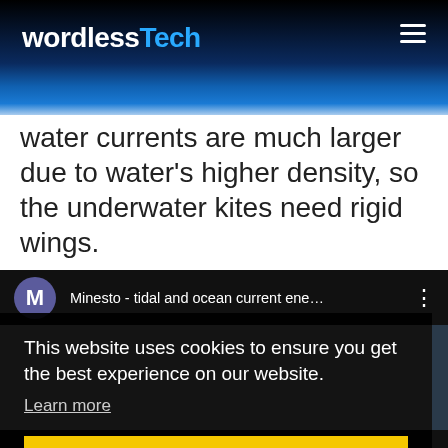wordlessTech
water currents are much larger due to water's higher density, so the underwater kites need rigid wings.
[Figure (screenshot): YouTube video embed strip showing channel avatar 'M' and title 'Minesto - tidal and ocean current ene...' with options dots]
This website uses cookies to ensure you get the best experience on our website. Learn more
Got it!